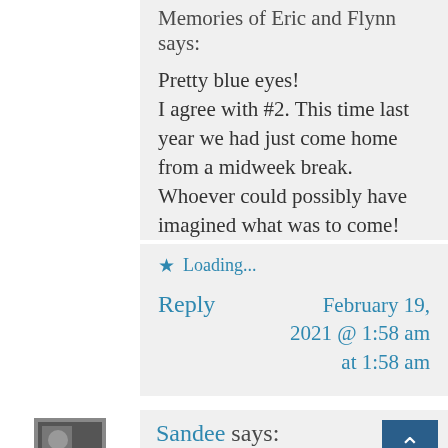Memories of Eric and Flynn says:
Pretty blue eyes!
I agree with #2. This time last year we had just come home from a midweek break. Whoever could possibly have imagined what was to come!
Loading...
Reply
February 19, 2021 @ 1:58 am at 1:58 am
Sandee says:
And it just won't seem to end